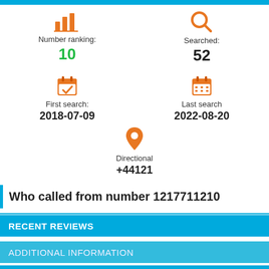[Figure (infographic): Orange bar chart icon above 'Number ranking:' label with green value 10]
[Figure (infographic): Orange magnifying glass icon above 'Searched:' label with value 52]
[Figure (infographic): Orange calendar with checkmark icon above 'First search:' label with date 2018-07-09]
[Figure (infographic): Orange calendar grid icon above 'Last search' label with date 2022-08-20]
[Figure (infographic): Orange map pin / location icon above 'Directional' label with value +44121]
Who called from number 1217711210
RECENT REVIEWS
ADDITIONAL INFORMATION